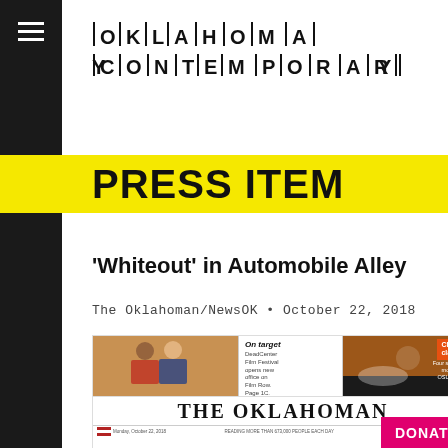OKLAHOMA CONTEMPORARY
PRESS ITEM
'Whiteout' in Automobile Alley
The Oklahoman/NewsOK • October 22, 2018
[Figure (screenshot): Front page of The Oklahoman newspaper, Monday October 22 2018, showing 'On target' teaser with photo of two people and 'Classic clash' sports teaser with football game photo. The masthead reads THE OKLAHOMAN.]